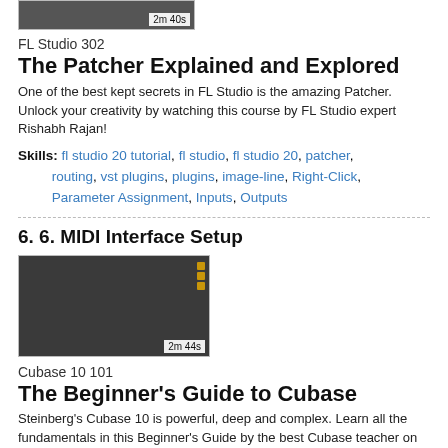[Figure (screenshot): Video thumbnail showing dark interface with time badge '2m 40s']
FL Studio 302
The Patcher Explained and Explored
One of the best kept secrets in FL Studio is the amazing Patcher. Unlock your creativity by watching this course by FL Studio expert Rishabh Rajan!
Skills: fl studio 20 tutorial, fl studio, fl studio 20, patcher, routing, vst plugins, plugins, image-line, Right-Click, Parameter Assignment, Inputs, Outputs
6. 6. MIDI Interface Setup
[Figure (screenshot): Video thumbnail showing dark DAW interface with orange icons and time badge '2m 44s']
Cubase 10 101
The Beginner's Guide to Cubase
Steinberg's Cubase 10 is powerful, deep and complex. Learn all the fundamentals in this Beginner's Guide by the best Cubase teacher on the planet: Matthew Loel T. Hepworth.